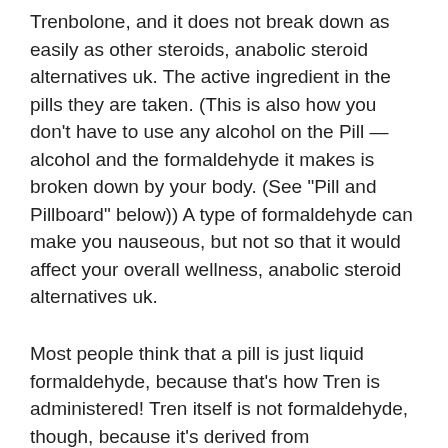Trenbolone, and it does not break down as easily as other steroids, anabolic steroid alternatives uk. The active ingredient in the pills they are taken. (This is also how you don't have to use any alcohol on the Pill — alcohol and the formaldehyde it makes is broken down by your body. (See "Pill and Pillboard" below)) A type of formaldehyde can make you nauseous, but not so that it would affect your overall wellness, anabolic steroid alternatives uk.
Most people think that a pill is just liquid formaldehyde, because that's how Tren is administered! Tren itself is not formaldehyde, though, because it's derived from formaldehyde-resistance bacteria, anabolic steroid alternatives uk. (For more on formaldehyde, visit Formaldehyde and Dangers of Formaldehyde)